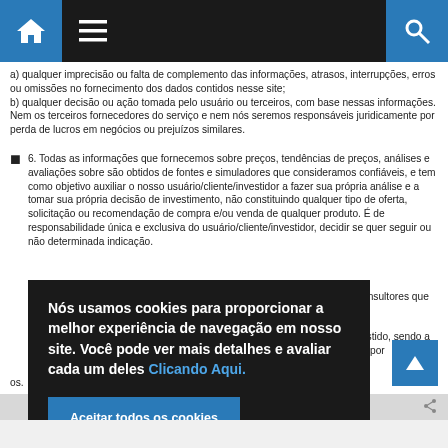Navigation bar with home, menu, and search icons
a) qualquer imprecisão ou falta de complemento das informações, atrasos, interrupções, erros ou omissões no fornecimento dos dados contidos nesse site; b) qualquer decisão ou ação tomada pelo usuário ou terceiros, com base nessas informações. Nem os terceiros fornecedores do serviço e nem nós seremos responsáveis juridicamente por perda de lucros em negócios ou prejuízos similares.
6. Todas as informações que fornecemos sobre preços, tendências de preços, análises e avaliações sobre são obtidos de fontes e simuladores que consideramos confiáveis, e tem como objetivo auxiliar o nosso usuário/cliente/investidor a fazer sua própria análise e a tomar sua própria decisão de investimento, não constituindo qualquer tipo de oferta, solicitação ou recomendação de compra e/ou venda de qualquer produto. É de responsabilidade única e exclusiva do usuário/cliente/investidor, decidir se quer seguir ou não determinada indicação.
...ões feitas nos relatórios e consultores que assinam
...e pela decisão de quais investido, sendo a Pontoon, e responsabilidade por
[Figure (other): Cookie consent overlay with text: Nós usamos cookies para proporcionar a melhor experiência de navegação em nosso site. Você pode ver mais detalhes e avaliar cada um deles Clicando Aqui. Button: Aceitar todos os cookies]
os.